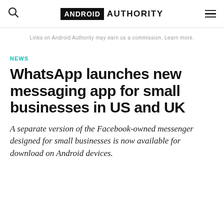ANDROID AUTHORITY
Links on Android Authority may earn us a commission. Learn more.
NEWS
WhatsApp launches new messaging app for small businesses in US and UK
A separate version of the Facebook-owned messenger designed for small businesses is now available for download on Android devices.